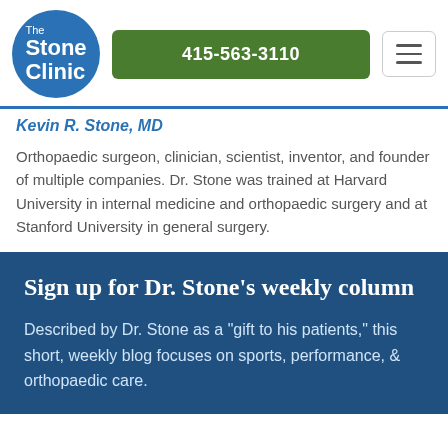[Figure (logo): The Stone Clinic logo — circular blue badge with white text reading 'The Stone Clinic']
415-563-3110
Kevin R. Stone, MD
Orthopaedic surgeon, clinician, scientist, inventor, and founder of multiple companies. Dr. Stone was trained at Harvard University in internal medicine and orthopaedic surgery and at Stanford University in general surgery.
Sign up for Dr. Stone's weekly column
Described by Dr. Stone as a "gift to his patients," this short, weekly blog focuses on sports, performance, & orthopaedic care.